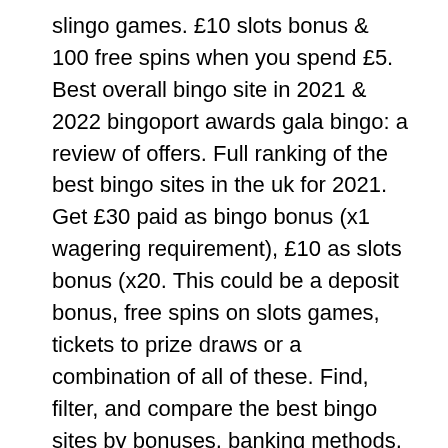slingo games. £10 slots bonus &amp; 100 free spins when you spend £5. Best overall bingo site in 2021 &amp; 2022 bingoport awards gala bingo: a review of offers. Full ranking of the best bingo sites in the uk for 2021. Get £30 paid as bingo bonus (x1 wagering requirement), £10 as slots bonus (x20. This could be a deposit bonus, free spins on slots games, tickets to prize draws or a combination of all of these. Find, filter, and compare the best bingo sites by bonuses, banking methods, and more. Quick and convenient comparison tool lets you effortlessly find the. The bonus will be split into two bonuses: £40 bingo bonus and £20 rainbow riches slot bonus. £20 slot bonus can be used for a maximum 100 spins on rainbow. Enjoy the biggest free bonuses when you play bingo &amp; slot games at bonus bingo. Get $100 free welcome bonus, plus 500% free on all deposits. 18+ deposit